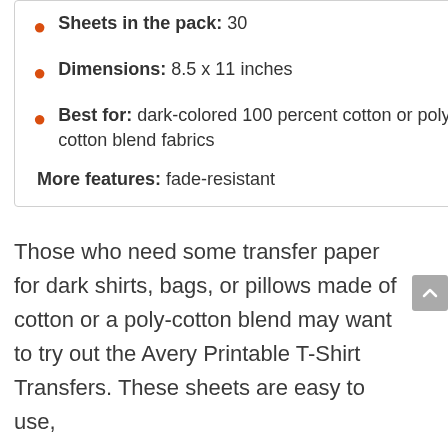Sheets in the pack: 30
Dimensions: 8.5 x 11 inches
Best for: dark-colored 100 percent cotton or poly cotton blend fabrics
More features: fade-resistant
Those who need some transfer paper for dark shirts, bags, or pillows made of cotton or a poly-cotton blend may want to try out the Avery Printable T-Shirt Transfers. These sheets are easy to use,